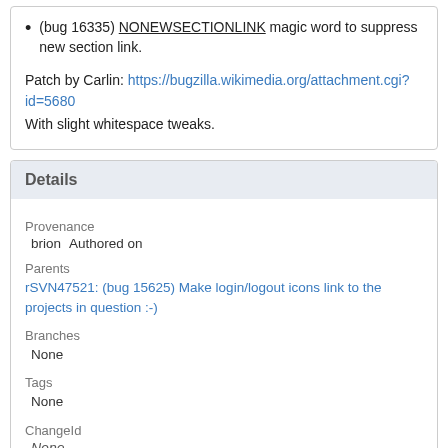(bug 16335) NONEWSECTIONLINK magic word to suppress new section link.
Patch by Carlin: https://bugzilla.wikimedia.org/attachment.cgi?id=5680
With slight whitespace tweaks.
Details
Provenance
brion   Authored on
Parents
rSVN47521: (bug 15625) Make login/logout icons link to the projects in question :-)
Branches
None
Tags
None
ChangeId
None